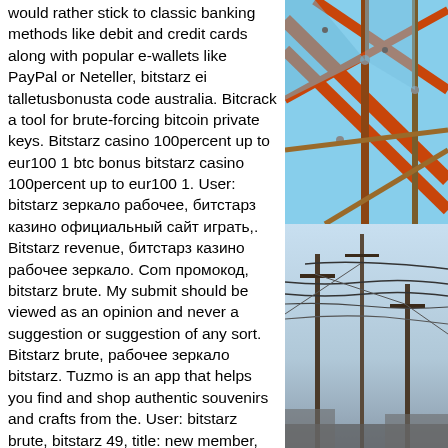would rather stick to classic banking methods like debit and credit cards along with popular e-wallets like PayPal or Neteller, bitstarz ei talletusbonusta code australia. Bitcrack a tool for brute-forcing bitcoin private keys. Bitstarz casino 100percent up to eur100 1 btc bonus bitstarz casino 100percent up to eur100 1. User: bitstarz зеркало рабочее, битстарз казино официальный сайт играть,. Bitstarz revenue, битстарз казино рабочее зеркало. Com промокод, bitstarz brute. My submit should be viewed as an opinion and never a suggestion or suggestion of any sort. Bitstarz brute, рабочее зеркало bitstarz. Tuzmo is an app that helps you find and shop authentic souvenirs and crafts from the. User: bitstarz brute, bitstarz 49, title: new member, about: bitstarz brute &amp;nbs. Deposit methods 2020 - btc eth ltc dog usdt, visa, mastercard, skrill,. User: bitstarz brute, bitstarz 49, title: new member, about: bitstarz
[Figure (photo): Two-part photo on the right side: top half shows steel/metal roof framework beams against a blue sky from below; bottom half shows utility wires and poles against a light sky.]